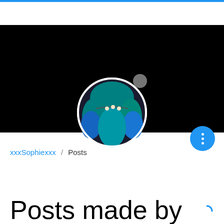[Figure (screenshot): Mobile social media profile page screenshot. Shows a blue top progress bar, white browser chrome, black cover photo area, circular profile avatar showing person with teal/blue hair and flower crown, a grey notification badge, a blue three-dot menu button, breadcrumb navigation 'xxxSophiexxx / Posts', and the beginning of a heading 'Posts made by']
xxxSophiexxx / Posts
Posts made by